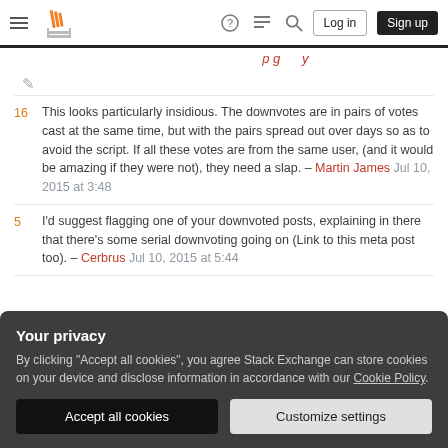Stack Exchange navigation bar with hamburger, logo, help, chat, search, Log in, Sign up
(partial heading text cut off at top)
This looks particularly insidious. The downvotes are in pairs of votes cast at the same time, but with the pairs spread out over days so as to avoid the script. If all these votes are from the same user, (and it would be amazing if they were not), they need a slap. – Martin James Jul 10, 2015 at 3:48
I'd suggest flagging one of your downvoted posts, explaining in there that there's some serial downvoting going on (Link to this meta post too). – Cerbrus Jul 10, 2015 at 5:44
Your privacy
By clicking "Accept all cookies", you agree Stack Exchange can store cookies on your device and disclose information in accordance with our Cookie Policy.
Accept all cookies  Customize settings